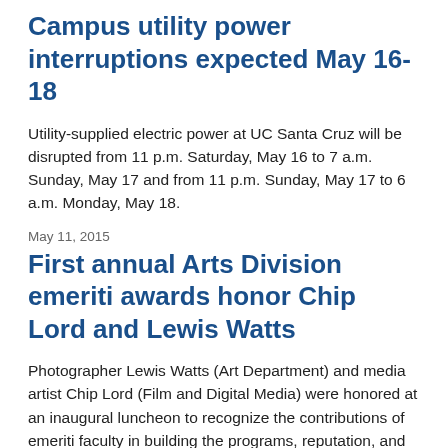Campus utility power interruptions expected May 16-18
Utility-supplied electric power at UC Santa Cruz will be disrupted from 11 p.m. Saturday, May 16 to 7 a.m. Sunday, May 17 and from 11 p.m. Sunday, May 17 to 6 a.m. Monday, May 18.
May 11, 2015
First annual Arts Division emeriti awards honor Chip Lord and Lewis Watts
Photographer Lewis Watts (Art Department) and media artist Chip Lord (Film and Digital Media) were honored at an inaugural luncheon to recognize the contributions of emeriti faculty in building the programs, reputation, and